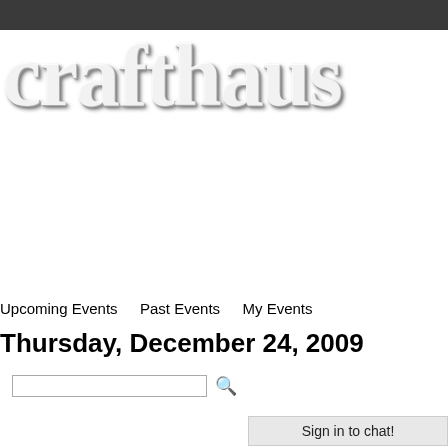crafthaus
Upcoming Events    Past Events    My Events
Thursday, December 24, 2009
[search input field]
Sign in to chat!